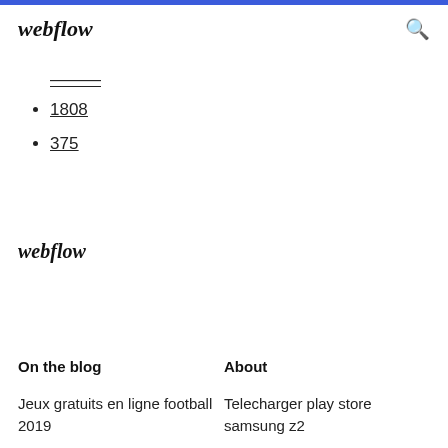webflow
----
1808
375
webflow
On the blog
About
Jeux gratuits en ligne football 2019
Telecharger play store samsung z2